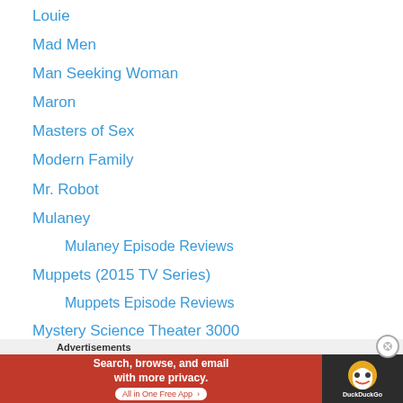Louie
Mad Men
Man Seeking Woman
Maron
Masters of Sex
Modern Family
Mr. Robot
Mulaney
Mulaney Episode Reviews
Muppets (2015 TV Series)
Muppets Episode Reviews
Mystery Science Theater 3000
Napoleon Dynamite
Nathan for You
New Girl
New Girl Episode Reviews
Newsreaders
Advertisements
[Figure (other): DuckDuckGo advertisement banner: orange background with text 'Search, browse, and email with more privacy. All in One Free App' and DuckDuckGo logo on dark background]